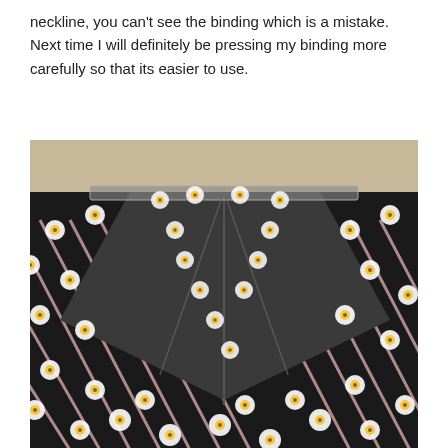neckline, you can't see the binding which is a mistake. Next time I will definitely be pressing my binding more carefully so that its easier to use.
[Figure (photo): Close-up photograph of a V-neckline on a garment made from black fabric with a white daisy floral print and pink diagonal stripe pattern. The neckline binding and seam construction are visible at the V-neck opening.]